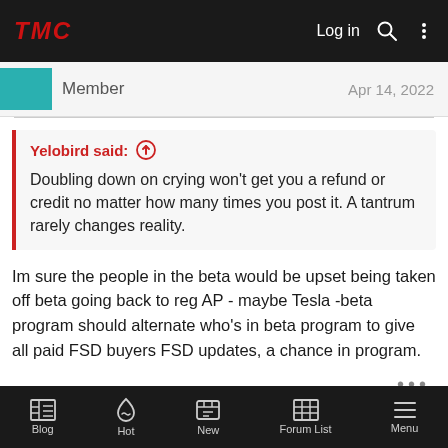TMC | Log in
Member  Apr 14, 2022
Yelobird said: ↑
Doubling down on crying won't get you a refund or credit no matter how many times you post it. A tantrum rarely changes reality.
Im sure the people in the beta would be upset being taken off beta going back to reg AP - maybe Tesla -beta program should alternate who's in beta program to give all paid FSD buyers FSD updates, a chance in program.
Blog  Hot  New  Forum List  Menu